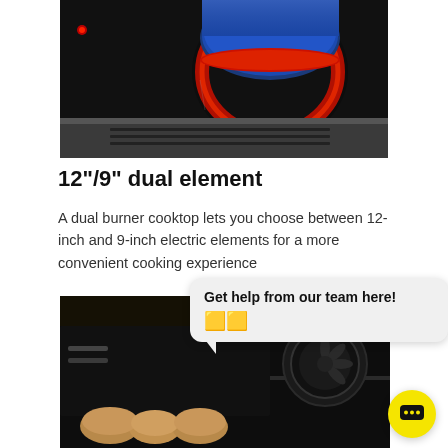[Figure (photo): Close-up photo of a dark/black electric cooktop with a blue pot sitting on a glowing red circular burner element, with a silver/gray oven below.]
12"/9" dual element
A dual burner cooktop lets you choose between 12-inch and 9-inch electric elements for a more convenient cooking experience
[Figure (photo): Photo of the interior of an oven with baked bread rolls visible on a rack, and oven components visible in the dark interior.]
Get help from our team here! 🟨🟨